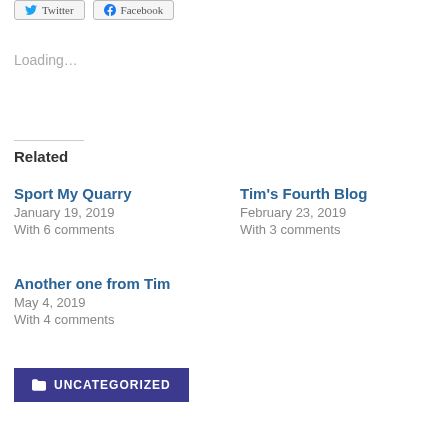[Figure (other): Twitter and Facebook share buttons at top of page]
Loading...
Related
Sport My Quarry
January 19, 2019
With 6 comments
Tim's Fourth Blog
February 23, 2019
With 3 comments
Another one from Tim
May 4, 2019
With 4 comments
UNCATEGORIZED